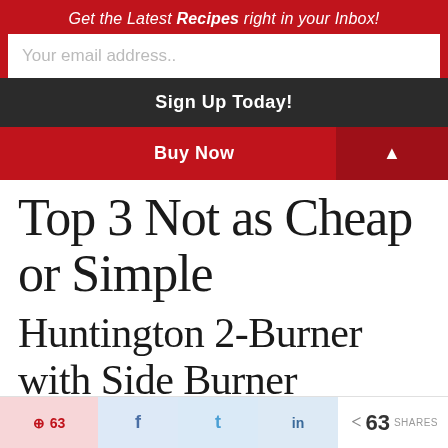Get the Latest Recipes right in your Inbox!
Your email address..
Sign Up Today!
Buy Now
Top 3 Not as Cheap or Simple
Huntington 2-Burner with Side Burner
63 SHARES